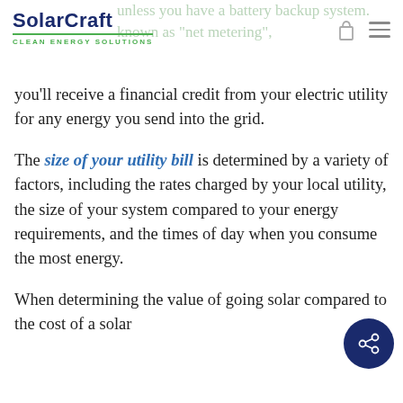SolarCraft — Clean Energy Solutions (logo and nav header)
unless you have a battery backup system. known as “net metering”, you’ll receive a financial credit from your electric utility for any energy you send into the grid.
The size of your utility bill is determined by a variety of factors, including the rates charged by your local utility, the size of your system compared to your energy requirements, and the times of day when you consume the most energy.
When determining the value of going solar compared to the cost of a solar